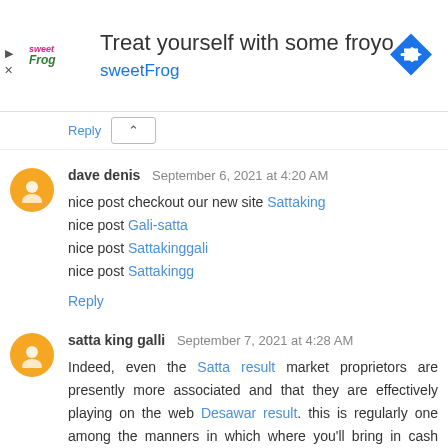[Figure (infographic): Advertisement banner for sweetFrog frozen yogurt. Shows sweetFrog logo on left, headline 'Treat yourself with some froyo' and brand name 'sweetFrog' in center, blue navigation arrow icon on right. Small play and close controls on bottom-left.]
Reply
dave denis  September 6, 2021 at 4:20 AM
nice post checkout our new site Sattaking
nice post Gali-satta
nice post Sattakinggali
nice post Sattakingg
Reply
satta king galli  September 7, 2021 at 4:28 AM
Indeed, even the Satta result market proprietors are presently more associated and that they are effectively playing on the web Desawar result. this is regularly one among the manners in which where you'll bring in cash without playing, you'll contact the overall players of Gali